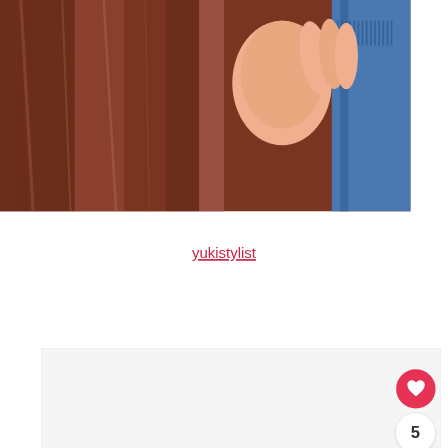[Figure (photo): Close-up photo of brown hair being combed with a comb, hand visible, blue object in background]
yukistylist
[Figure (photo): Slideshow card area with light gray background, three small square dots at the bottom as navigation indicators]
[Figure (infographic): UI overlay with heart/like button (red circle), like count of 5, share button (white circle with share icon), and a 'WHAT'S NEXT' banner showing Red Vines candy corn flavored product thumbnail]